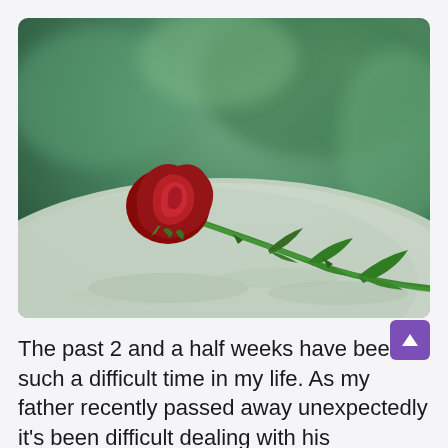[Figure (photo): A single red rose lying on a stone surface (likely a gravestone or memorial stone), with a blurred green background. The rose is dark red with a long green stem and leaves.]
The past 2 and a half weeks have been such a difficult time in my life. As my father recently passed away unexpectedly it's been difficult dealing with his